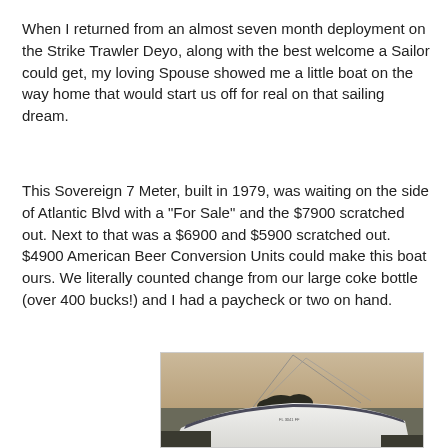When I returned from an almost seven month deployment on the Strike Trawler Deyo, along with the best welcome a Sailor could get, my loving Spouse showed me a little boat on the way home that would start us off for real on that sailing dream.
This Sovereign 7 Meter, built in 1979, was waiting on the side of Atlantic Blvd with a "For Sale" and the $7900 scratched out. Next to that was a $6900 and $5900 scratched out. $4900 American Beer Conversion Units could make this boat ours. We literally counted change from our large coke bottle (over 400 bucks!) and I had a paycheck or two on hand.
[Figure (photo): Photograph of a white sailboat hull viewed from the front/side at dusk or dawn, showing the bow of the boat on a trailer with mast lines visible overhead and trees in the background.]